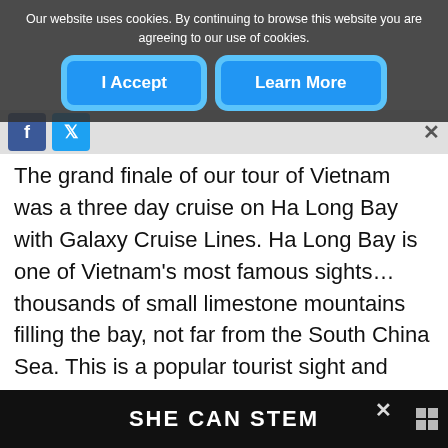Our website uses cookies. By continuing to browse this website you are agreeing to our use of cookies.
I Accept | Learn More
The grand finale of our tour of Vietnam was a three day cruise on Ha Long Bay with Galaxy Cruise Lines. Ha Long Bay is one of Vietnam's most famous sights...thousands of small limestone mountains filling the bay, not far from the South China Sea. This is a popular tourist sight and another UNESCO World Heritage Site, attracting thousands of visitors every year for day trips or multi day cruises around the bay
SHE CAN STEM